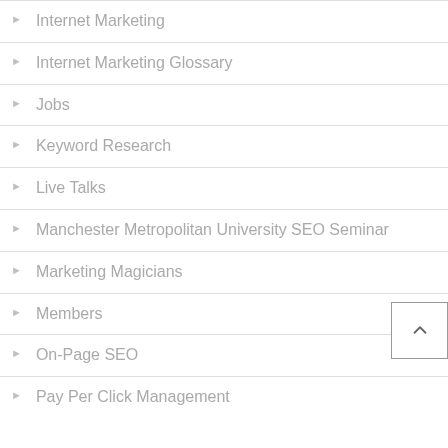Internet Marketing
Internet Marketing Glossary
Jobs
Keyword Research
Live Talks
Manchester Metropolitan University SEO Seminar
Marketing Magicians
Members
On-Page SEO
Pay Per Click Management